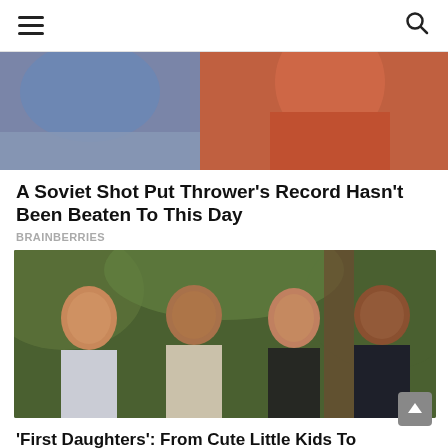Navigation header with hamburger menu and search icon
[Figure (photo): Partial photo of a person in a red/orange outfit, cropped, blurred background]
A Soviet Shot Put Thrower's Record Hasn't Been Beaten To This Day
BRAINBERRIES
[Figure (photo): Family photo of four people posing together outdoors with green foliage background]
'First Daughters': From Cute Little Kids To